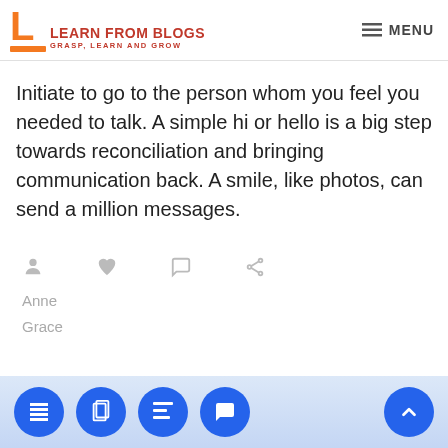LEARN FROM BLOGS — GRASP, LEARN AND GROW | MENU
Initiate to go to the person whom you feel you needed to talk. A simple hi or hello is a big step towards reconciliation and bringing communication back. A smile, like photos, can send a million messages.
Anne Grace
Navigation icons: table of contents, copy, menu, comment, scroll to top